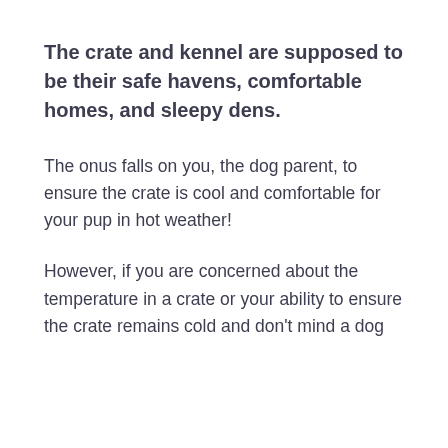The crate and kennel are supposed to be their safe havens, comfortable homes, and sleepy dens.
The onus falls on you, the dog parent, to ensure the crate is cool and comfortable for your pup in hot weather!
However, if you are concerned about the temperature in a crate or your ability to ensure the crate remains cold and  don't  mind a dog